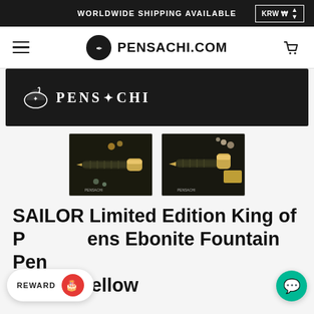WORLDWIDE SHIPPING AVAILABLE   KRW ₩
[Figure (logo): Pensachi.com website header with hamburger menu, Pensachi logo (scroll with pen icon) and PENSACHI.COM text, and shopping cart icon]
[Figure (photo): Dark banner with Pensachi logo (white scroll icon and PENS-nib-CHI text) on dark background]
[Figure (photo): Two product thumbnail photos side by side showing SAILOR fountain pens (black with gold accents) on dark backgrounds with decorative elements, each with Pensachi watermark]
SAILOR Limited Edition King of Pens Ebonite Fountain Pen - Black Yellow